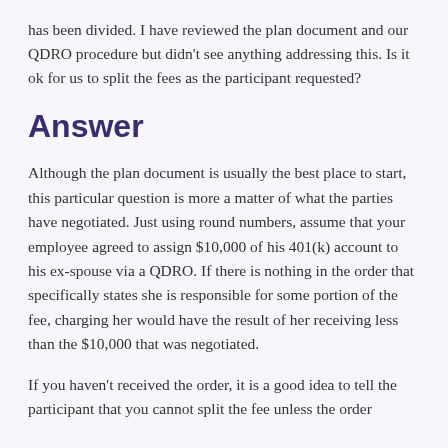has been divided. I have reviewed the plan document and our QDRO procedure but didn't see anything addressing this. Is it ok for us to split the fees as the participant requested?
Answer
Although the plan document is usually the best place to start, this particular question is more a matter of what the parties have negotiated. Just using round numbers, assume that your employee agreed to assign $10,000 of his 401(k) account to his ex-spouse via a QDRO. If there is nothing in the order that specifically states she is responsible for some portion of the fee, charging her would have the result of her receiving less than the $10,000 that was negotiated.
If you haven't received the order, it is a good idea to tell the participant that you cannot split the fee unless the order